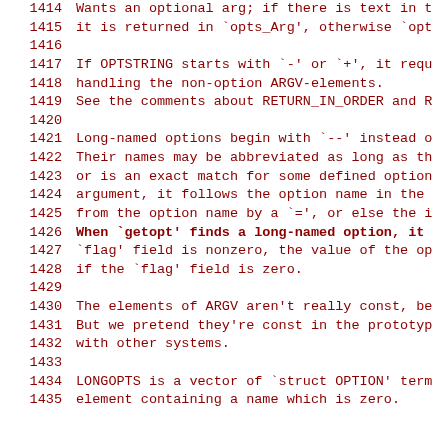1414    Wants an optional arg; if there is text in the current ARGV-element,
1415    it is returned in `opts_Arg', otherwise `opt
1416
1417    If OPTSTRING starts with `-' or `+', it requ
1418    handling the non-option ARGV-elements.
1419    See the comments about RETURN_IN_ORDER and R
1420
1421    Long-named options begin with `--' instead o
1422    Their names may be abbreviated as long as th
1423    or is an exact match for some defined option
1424    argument, it follows the option name in the
1425    from the option name by a `=', or else the i
1426    When `getopt' finds a long-named option, it
1427    `flag' field is nonzero, the value of the op
1428    if the `flag' field is zero.
1429
1430    The elements of ARGV aren't really const, be
1431    But we pretend they're const in the prototyp
1432    with other systems.
1433
1434    LONGOPTS is a vector of `struct OPTION' term
1435    element containing a name which is zero.